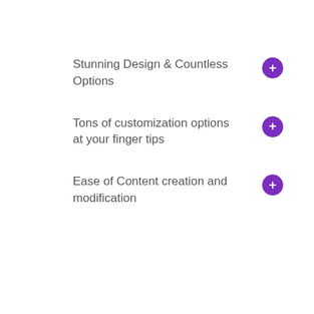Stunning Design & Countless Options
Tons of customization options at your finger tips
Ease of Content creation and modification